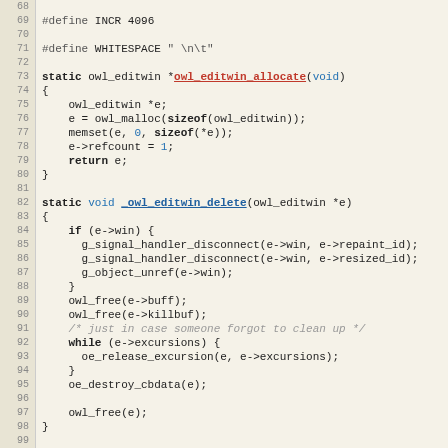Source code listing lines 68–99: owl_editwin_allocate and _owl_editwin_delete functions in C
[Figure (screenshot): C source code with syntax highlighting showing lines 68-99, including #define macros, owl_editwin_allocate function, and _owl_editwin_delete function]